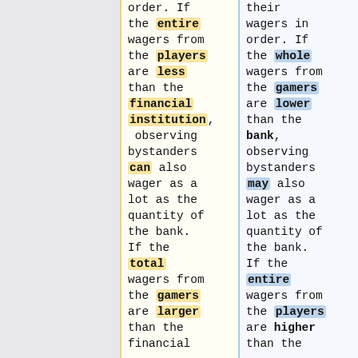order. If the entire wagers from the players are less than the financial institution, observing bystanders can also wager as a lot as the quantity of the bank. If the total wagers from the gamers are larger than the financial
their wagers in order. If the whole wagers from the gamers are lower than the bank, observing bystanders may also wager as a lot as the quantity of the bank. If the entire wagers from the players are higher than the